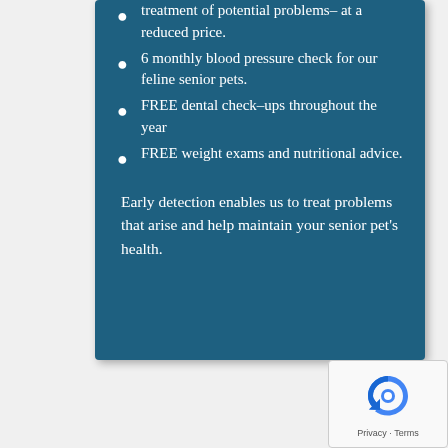treatment of potential problems- at a reduced price.
6 monthly blood pressure check for our feline senior pets.
FREE dental check-ups throughout the year
FREE weight exams and nutritional advice.
Early detection enables us to treat problems that arise and help maintain your senior pet's health.